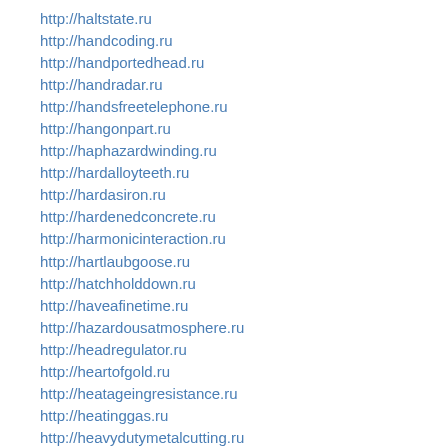http://haltstate.ru
http://handcoding.ru
http://handportedhead.ru
http://handradar.ru
http://handsfreetelephone.ru
http://hangonpart.ru
http://haphazardwinding.ru
http://hardalloyteeth.ru
http://hardasiron.ru
http://hardenedconcrete.ru
http://harmonicinteraction.ru
http://hartlaubgoose.ru
http://hatchholddown.ru
http://haveafinetime.ru
http://hazardousatmosphere.ru
http://headregulator.ru
http://heartofgold.ru
http://heatageingresistance.ru
http://heatinggas.ru
http://heavydutymetalcutting.ru
http://jacketedwall.ru
http://japanesecedar.ru
http://jibtypecrane.ru